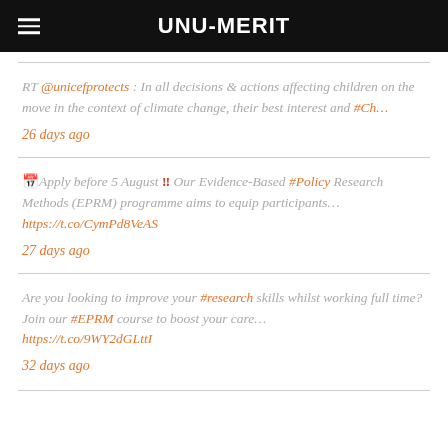UNU-MERIT
RT @unicefprotects : In all decisions & actions affecting children on the move in the context of climate change, their best interest and #Ch…
26 days ago
📅Apply before 5 August ‼ Our Evidence-Based #Policy Research Methods (EPRM) programme aims to equip participants… https://t.co/CymPd8VeAS
27 days ago
Are you looking to improve your #research skills whilst working full time? Join our #EPRM course to boost your care… https://t.co/9WY2dGLttI
32 days ago